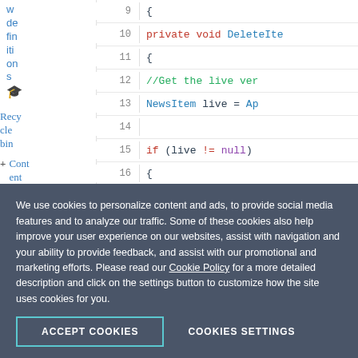w definitions 🎓 Recycle bin + Content setti
[Figure (screenshot): Code editor showing C# code snippet with line numbers 9-20. Lines show: line 9: '{', line 10: 'private void DeleteIte', line 11: '{', line 12: '//Get the live ver', line 13: 'NewsItem live = Ap', line 14: (empty), line 15: 'if (live != null)', line 16: '{', line 17: '//Get the Id o', line 18: 'Guid masterId', line 19: (empty), line 20: (partial '//Delete thi')]
We use cookies to personalize content and ads, to provide social media features and to analyze our traffic. Some of these cookies also help improve your user experience on our websites, assist with navigation and your ability to provide feedback, and assist with our promotional and marketing efforts. Please read our Cookie Policy for a more detailed description and click on the settings button to customize how the site uses cookies for you.
ACCEPT COOKIES
COOKIES SETTINGS